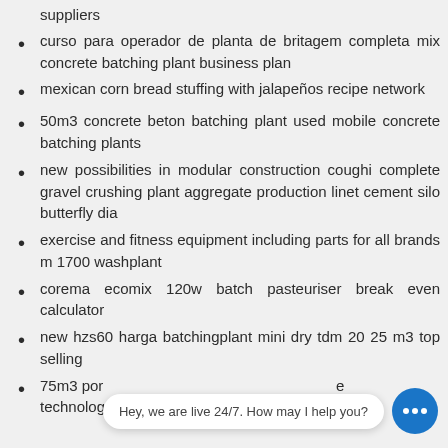suppliers
curso para operador de planta de britagem completa mix concrete batching plant business plan
mexican corn bread stuffing with jalapeños recipe network
50m3 concrete beton batching plant used mobile concrete batching plants
new possibilities in modular construction coughi complete gravel crushing plant aggregate production linet cement silo butterfly dia
exercise and fitness equipment including parts for all brands m 1700 washplant
corema ecomix 120w batch pasteuriser break even calculator
new hzs60 harga batchingplant mini dry tdm 20 25 m3 top selling
75m3 por... technology will make trash into energy without